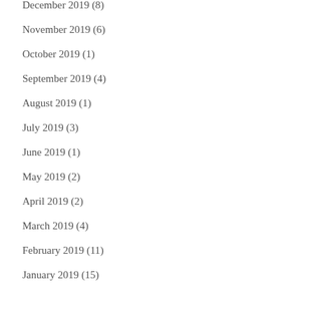December 2019 (8)
November 2019 (6)
October 2019 (1)
September 2019 (4)
August 2019 (1)
July 2019 (3)
June 2019 (1)
May 2019 (2)
April 2019 (2)
March 2019 (4)
February 2019 (11)
January 2019 (15)